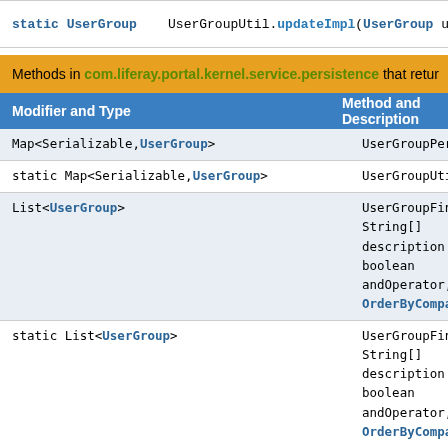static UserGroup    UserGroupUtil.updateImpl(UserGroup user
Methods in com.liferay.portal.kernel.service.persistence that retur
| Modifier and Type | Method and Description |
| --- | --- |
| Map<Serializable,UserGroup> | UserGroupPersistence.fe |
| static Map<Serializable,UserGroup> | UserGroupUtil.fetchByPr |
| List<UserGroup> | UserGroupFinder.filter
String[] description
boolean andOperator,
OrderByComparator<Us |
| static List<UserGroup> | UserGroupFinderUtil.filt
String[] description
boolean andOperator,
OrderByComparator<Us |
| List<UserGroup> | UserGroupFinder.filter
String description,
boolean andOperator,
OrderByComparator<Us |
| static List<UserGroup> | UserGroupFinderUtil.filt
String description,
boolean andOperator,
OrderByComparator<Us |
| List<UserGroup> | UserGroupPersistence.fi
long parentUserGroup
Returns all the user group |